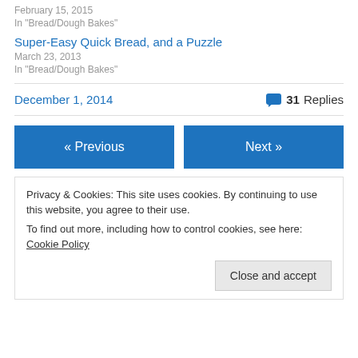February 15, 2015
In "Bread/Dough Bakes"
Super-Easy Quick Bread, and a Puzzle
March 23, 2013
In "Bread/Dough Bakes"
December 1, 2014
31 Replies
« Previous
Next »
Privacy & Cookies: This site uses cookies. By continuing to use this website, you agree to their use.
To find out more, including how to control cookies, see here: Cookie Policy
Close and accept